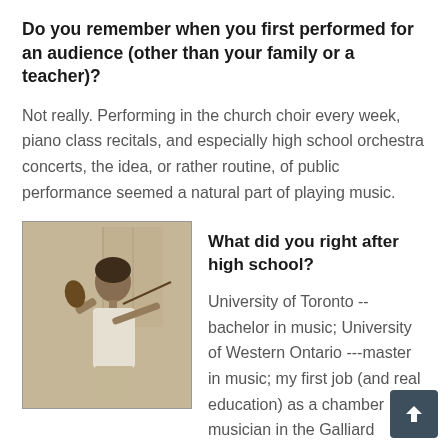Do you remember when you first performed for an audience (other than your family or a teacher)?
Not really. Performing in the church choir every week, piano class recitals, and especially high school orchestra concerts, the idea, or rather routine, of public performance seemed a natural part of playing music.
[Figure (photo): Sepia-toned photograph of a young man playing violin, standing in front of a white door.]
What did you right after high school?
University of Toronto -- bachelor in music; University of Western Ontario ---master in music; my first job (and real education) as a chamber musician in the Galliard Ensemble; met Isolde, got engaged to be married ten days later; then moved to Montréal and attended Université de Montréal for a D